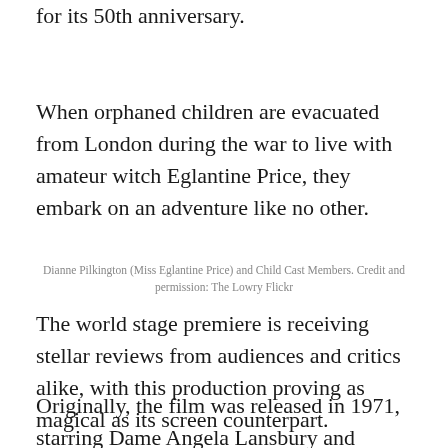for its 50th anniversary.
When orphaned children are evacuated from London during the war to live with amateur witch Eglantine Price, they embark on an adventure like no other.
Dianne Pilkington (Miss Eglantine Price) and Child Cast Members. Credit and permission: The Lowry Flickr
The world stage premiere is receiving stellar reviews from audiences and critics alike, with this production proving as magical as its screen counterpart.
Originally, the film was released in 1971, starring Dame Angela Lansbury and David Tomlinson as Miss Eglantine Price and Mr. Emitrius Brown...